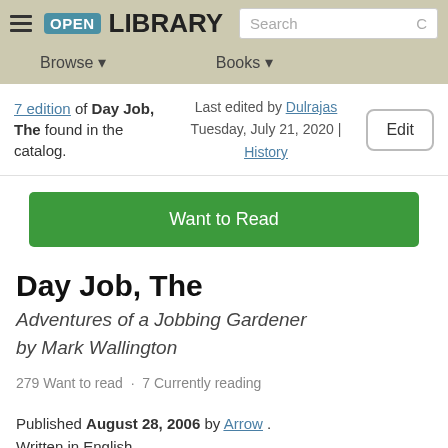[Figure (screenshot): Open Library website header with hamburger menu, OPEN LIBRARY logo, and Search box]
Browse ▾   Books ▾
7 edition of Day Job, The found in the catalog. Last edited by Dulrajas Tuesday, July 21, 2020 | History
Edit
Want to Read
Day Job, The
Adventures of a Jobbing Gardener
by Mark Wallington
279 Want to read · 7 Currently reading
Published August 28, 2006 by Arrow . Written in English